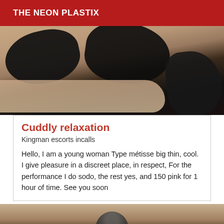THE NEON PLASTIX
[Figure (photo): Close-up photo of a person wearing black lingerie, cropped view of torso area against a light background.]
Cuddly relaxation
Kingman escorts incalls
Hello, I am a young woman Type métisse big thin, cool. I give pleasure in a discreet place, in respect, For the performance I do sodo, the rest yes, and 150 pink for 1 hour of time. See you soon
[Figure (photo): Photo of a person, partially visible, appearing to be indoors with a warm-toned background.]